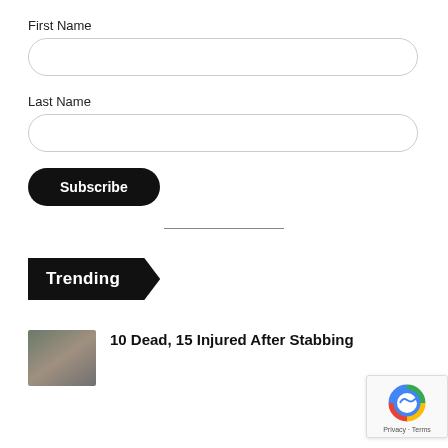First Name
[Figure (other): Empty rounded input field for First Name]
Last Name
[Figure (other): Empty rounded input field for Last Name]
Subscribe
Trending
10 Dead, 15 Injured After Stabbing